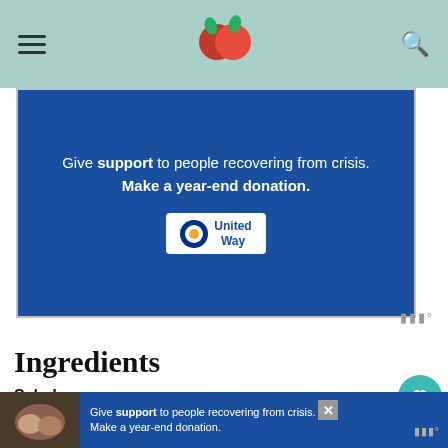[Figure (screenshot): Blue advertisement banner: 'Give support to people recovering from crisis. Make a year-end donation.' with United Way logo]
Ingredients
Salad::
2 1/2 cups shredded (or chopped) romaine lettu…
1 can black beans (12.5 ounces), drained and rinsed
1 cup diced tomatoes, or grape tomatoes, halved
3/4 cup chopped, peeled jicama
[Figure (screenshot): Bottom ad banner with United Way donation message and close button]